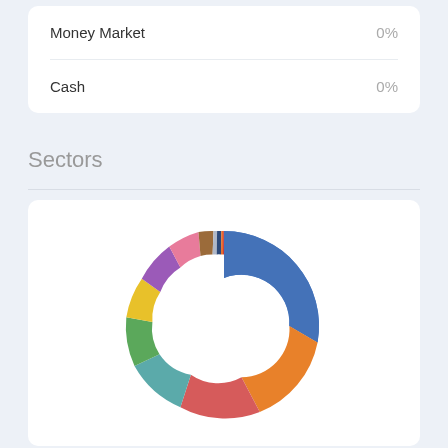| Category | Value |
| --- | --- |
| Money Market | 0% |
| Cash | 0% |
Sectors
[Figure (donut-chart): Donut chart showing sector allocations with multiple colored segments including blue (largest), orange, red, teal, green, yellow, purple, pink, brown, gray, dark blue, and thin orange/red slices.]